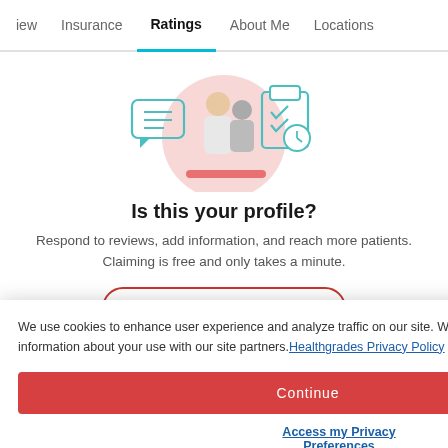iew  Insurance  Ratings  About Me  Locations
[Figure (illustration): Doctor with patient illustration, with chat bubble icon and clipboard/clock icon on sides, pink circular background]
Is this your profile?
Respond to reviews, add information, and reach more patients. Claiming is free and only takes a minute.
Claim your profile
We use cookies to enhance user experience and analyze traffic on our site. We also share information about your use with our site partners. Healthgrades Privacy Policy
Continue
Access my Privacy Preferences